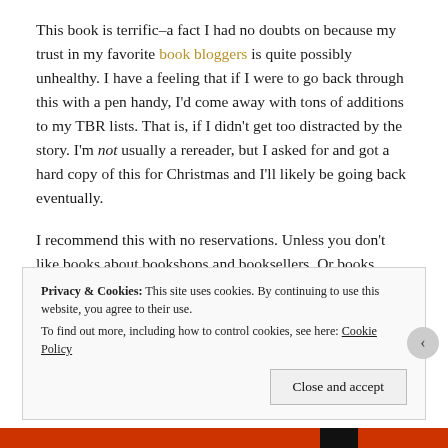This book is terrific–a fact I had no doubts on because my trust in my favorite book bloggers is quite possibly unhealthy. I have a feeling that if I were to go back through this with a pen handy, I'd come away with tons of additions to my TBR lists. That is, if I didn't get too distracted by the story. I'm not usually a rereader, but I asked for and got a hard copy of this for Christmas and I'll likely be going back eventually.
I recommend this with no reservations. Unless you don't like books about bookshops and booksellers. Or books about a lot of things where one of those things is a romance between a sometimes-cranky-bookseller and much peppier publishing saleswoman and it's not even that sappy. Or really good books. If
Privacy & Cookies: This site uses cookies. By continuing to use this website, you agree to their use. To find out more, including how to control cookies, see here: Cookie Policy